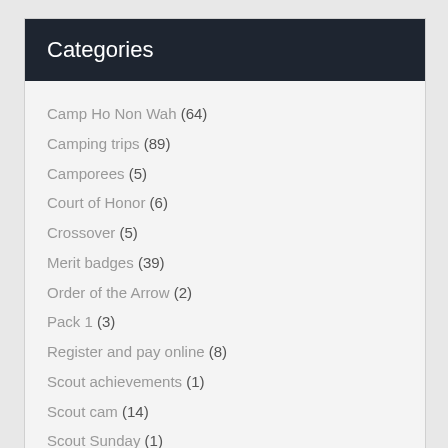Categories
Camp Ho Non Wah (64)
Camping trips (89)
Camporees (5)
Court of Honor (6)
Crossover (5)
Merit badges (39)
Order of the Arrow (2)
Pack 1 (3)
Register and pay online (8)
Scout achievements (1)
Scout cam (14)
Scout Sunday (1)
Service opportunity (2)
Social Media (1)